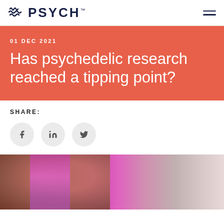PSYCH
01 DEC 2021
Has psychedelic research reached a tipping point?
SHARE:
[Figure (photo): Blurred photo of a person with pink/magenta hair, background shows a person at a computer]
[Figure (logo): PSYCH logo with stylized brain/wave icon in dark navy blue]